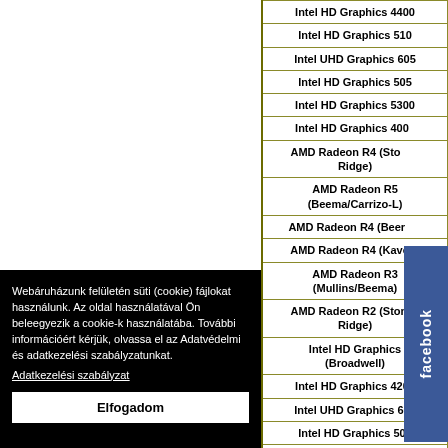| GPU |
| --- |
| Intel HD Graphics 4400 |
| Intel HD Graphics 510 |
| Intel UHD Graphics 605 |
| Intel HD Graphics 505 |
| Intel HD Graphics 5300 |
| Intel HD Graphics 4000 |
| AMD Radeon R4 (Stoney Ridge) |
| AMD Radeon R5 (Beema/Carrizo-L) |
| AMD Radeon R4 (Beema) |
| AMD Radeon R4 (Kaveri) |
| AMD Radeon R3 (Mullins/Beema) |
| AMD Radeon R2 (Stoney Ridge) |
| Intel HD Graphics (Broadwell) |
| Intel HD Graphics 4200 |
| Intel UHD Graphics 600 |
| Intel HD Graphics 500 |
| Intel HD Graphics 405 (Braswell) |
| Intel HD Graphics |
Webáruházunk felületén süti (cookie) fájlokat használunk. Az oldal használatával Ön beleegyezik a cookie-k használatába. További információért kérjük, olvassa el az Adatvédelmi és adatkezelési szabályzatunkat. Adatkezelési szabályzat
Elfogadom